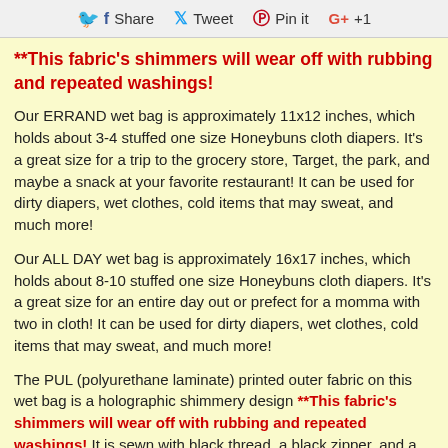Share  Tweet  Pin it  G+ +1
**This fabric's shimmers will wear off with rubbing and repeated washings!
Our ERRAND wet bag is approximately 11x12 inches, which holds about 3-4 stuffed one size Honeybuns cloth diapers. It's a great size for a trip to the grocery store, Target, the park, and maybe a snack at your favorite restaurant! It can be used for dirty diapers, wet clothes, cold items that may sweat, and much more!
Our ALL DAY wet bag is approximately 16x17 inches, which holds about 8-10 stuffed one size Honeybuns cloth diapers. It's a great size for an entire day out or prefect for a momma with two in cloth! It can be used for dirty diapers, wet clothes, cold items that may sweat, and much more!
The PUL (polyurethane laminate) printed outer fabric on this wet bag is a holographic shimmery design **This fabric's shimmers will wear off with rubbing and repeated washings! It is sewn with black thread, a black zipper, and a black strap that snaps open and closed with a black snap. The bag sells this to you as side zipper to be...